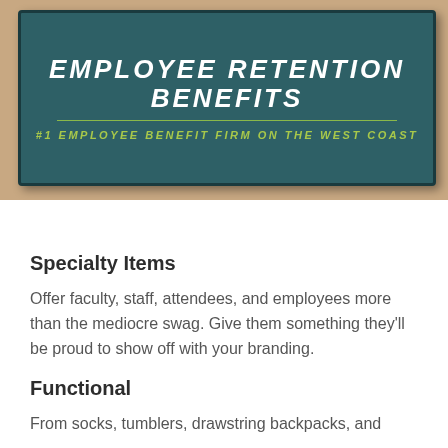[Figure (photo): A branded doormat/rug on a wooden floor. The rug is teal/dark green and reads 'EMPLOYEE RETENTION BENEFITS' in large white italic bold letters, with a dividing line and '#1 EMPLOYEE BENEFIT FIRM ON THE WEST COAST' in smaller yellow-green italic text below.]
Specialty Items
Offer faculty, staff, attendees, and employees more than the mediocre swag. Give them something they'll be proud to show off with your branding.
Functional
From socks, tumblers, drawstring backpacks, and